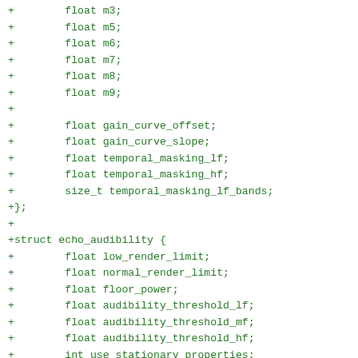+        float m3;
+        float m5;
+        float m6;
+        float m7;
+        float m8;
+        float m9;
+
+        float gain_curve_offset;
+        float gain_curve_slope;
+        float temporal_masking_lf;
+        float temporal_masking_hf;
+        size_t temporal_masking_lf_bands;
+};
+
+struct echo_audibility {
+        float low_render_limit;
+        float normal_render_limit;
+        float floor_power;
+        float audibility_threshold_lf;
+        float audibility_threshold_mf;
+        float audibility_threshold_hf;
+        int use_stationary_properties;